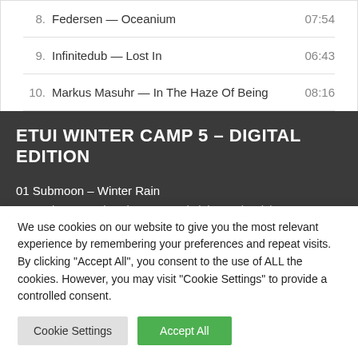8. Federsen — Oceanium  07:54
9. Infinitedub — Lost In  06:43
10. Markus Masuhr — In The Haze Of Being  08:16
ETUI WINTER CAMP 5 – DIGITAL EDITION
01 Submoon – Winter Rain
02 3voice & Cynic_Al – Lost Path (Live Dub Mix)
We use cookies on our website to give you the most relevant experience by remembering your preferences and repeat visits. By clicking "Accept All", you consent to the use of ALL the cookies. However, you may visit "Cookie Settings" to provide a controlled consent.
Cookie Settings  Accept All